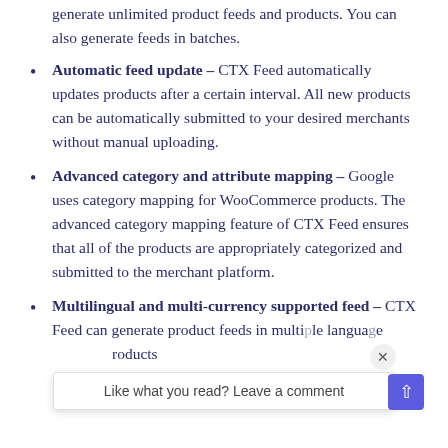generate unlimited product feeds and products. You can also generate feeds in batches.
Automatic feed update – CTX Feed automatically updates products after a certain interval. All new products can be automatically submitted to your desired merchants without manual uploading.
Advanced category and attribute mapping – Google uses category mapping for WooCommerce products. The advanced category mapping feature of CTX Feed ensures that all of the products are appropriately categorized and submitted to the merchant platform.
Multilingual and multi-currency supported feed – CTX Feed can generate product feeds in multiple languages and products